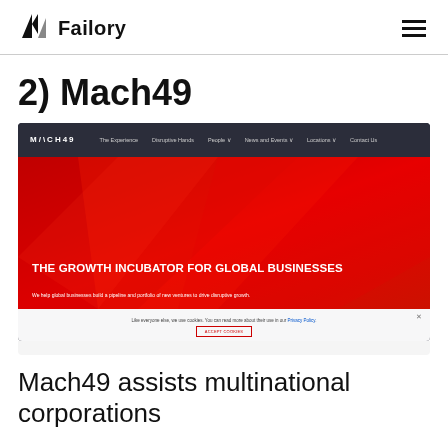Failory
2) Mach49
[Figure (screenshot): Screenshot of the Mach49 website homepage showing a dark navigation bar with links (The Experience, Disruptive Hands, People, News and Events, Locations, Contact Us) and a bold red hero section with the headline 'THE GROWTH INCUBATOR FOR GLOBAL BUSINESSES' and subtext 'We help global businesses build a pipeline and portfolio of new ventures to drive disruptive growth.' A cookie consent bar appears at the bottom.]
Mach49 assists multinational corporations